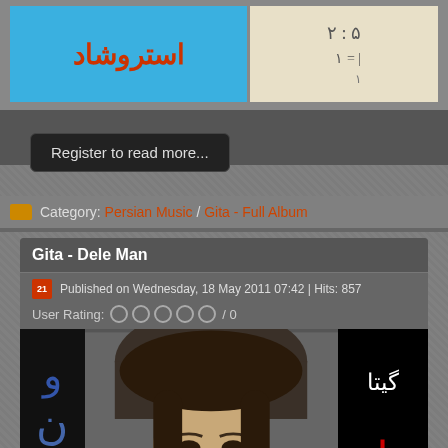[Figure (screenshot): Top banner with blue background showing Persian/Urdu script text in red-orange, and a right panel with light background showing Arabic numerals]
Register to read more...
Category: Persian Music / Gita - Full Album
Gita - Dele Man
Published on Wednesday, 18 May 2011 07:42 | Hits: 857
User Rating: / 0
[Figure (photo): Album cover for Gita - Dele Man showing a woman's face in the center with dark hair, Persian/Urdu script on the left in blue and on the right showing white text (Gita in Persian) and red text (Del in Persian) on black background]